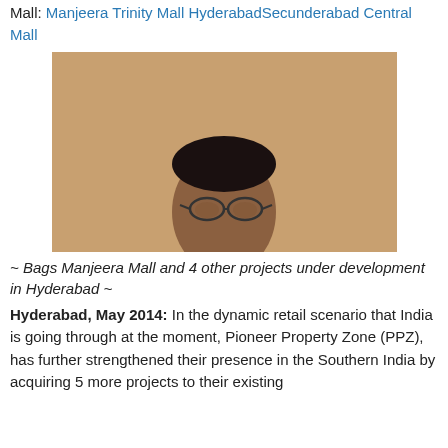Mall: Manjeera Trinity Mall HyderabadSecunderabad Central Mall
[Figure (photo): Portrait photo of a man wearing glasses and a dark suit jacket, standing against an orange/tan background]
~ Bags Manjeera Mall and 4 other projects under development in Hyderabad ~
Hyderabad, May 2014: In the dynamic retail scenario that India is going through at the moment, Pioneer Property Zone (PPZ), has further strengthened their presence in the Southern India by acquiring 5 more projects to their existing